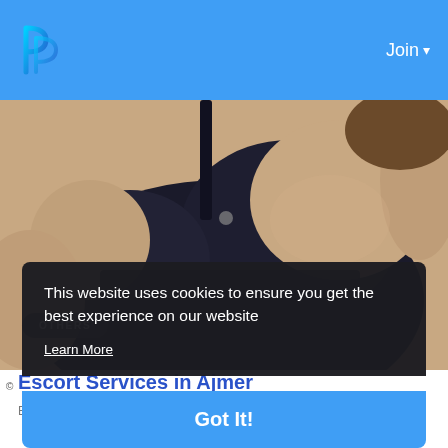Join
[Figure (photo): Close-up photo of a person wearing a black lace bra/lingerie top, cropped at shoulders and waist, light background.]
OTHERS
Escort Services in Ajmer
This website uses cookies to ensure you get the best experience on our website
Learn More
Got It!